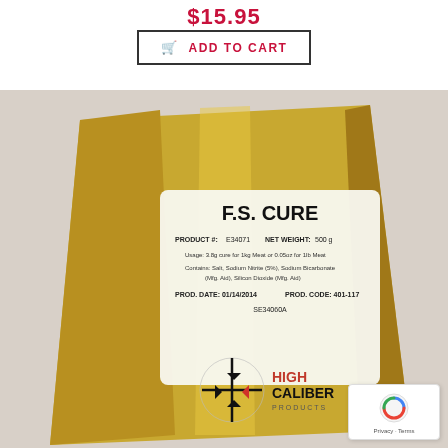$15.95
ADD TO CART
[Figure (photo): Gold foil package of F.S. Cure product by High Caliber Products. Label shows Product #: E34071, Net Weight: 500g, usage and ingredients information, Prod. Date: 01/14/2014, Prod. Code: 401-117, SE34060A]